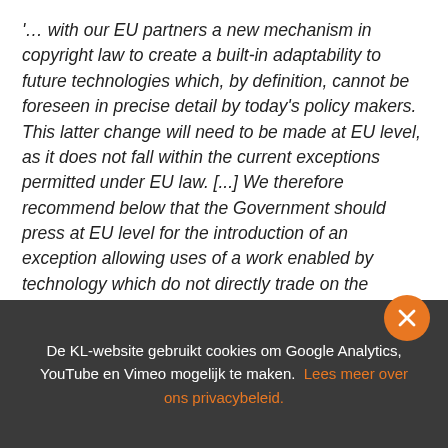'… with our EU partners a new mechanism in copyright law to create a built-in adaptability to future technologies which, by definition, cannot be foreseen in precise detail by today's policy makers. This latter change will need to be made at EU level, as it does not fall within the current exceptions permitted under EU law. [...] We therefore recommend below that the Government should press at EU level for the introduction of an exception allowing uses of a work enabled by technology which do not directly trade on the underlying creative and expressive purpose of…
De KL-website gebruikt cookies om Google Analytics, YouTube en Vimeo mogelijk te maken. Lees meer over ons privacybeleid.